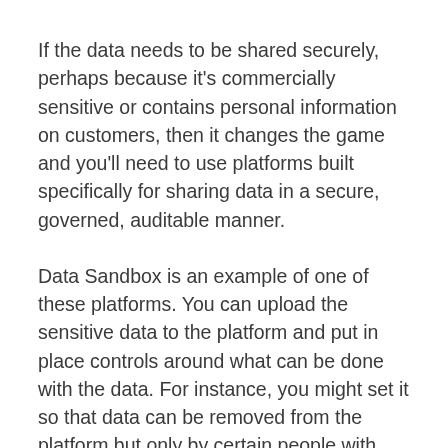If the data needs to be shared securely, perhaps because it's commercially sensitive or contains personal information on customers, then it changes the game and you'll need to use platforms built specifically for sharing data in a secure, governed, auditable manner.
Data Sandbox is an example of one of these platforms. You can upload the sensitive data to the platform and put in place controls around what can be done with the data. For instance, you might set it so that data can be removed from the platform but only by certain people with pre-defined approvals, or you might set it so that data can't be removed from the platform at all and any analysis or use of the data has to be done in the secure virtual machines provided as part of the Data Sandbox platform.